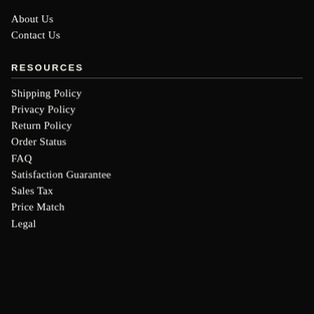About Us
Contact Us
RESOURCES
Shipping Policy
Privacy Policy
Return Policy
Order Status
FAQ
Satisfaction Guarantee
Sales Tax
Price Match
Legal